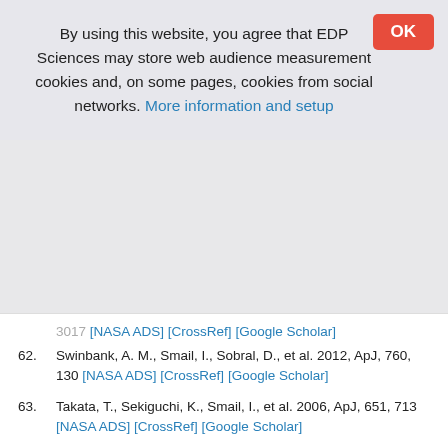By using this website, you agree that EDP Sciences may store web audience measurement cookies and, on some pages, cookies from social networks. More information and setup
3017 [NASA ADS] [CrossRef] [Google Scholar]
62. Swinbank, A. M., Smail, I., Sobral, D., et al. 2012, ApJ, 760, 130 [NASA ADS] [CrossRef] [Google Scholar]
63. Takata, T., Sekiguchi, K., Smail, I., et al. 2006, ApJ, 651, 713 [NASA ADS] [CrossRef] [Google Scholar]